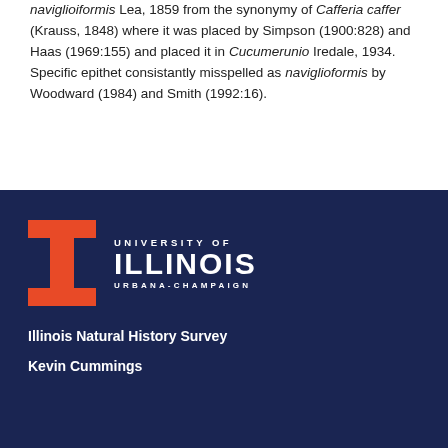naviglioiformis Lea, 1859 from the synonymy of Cafferia caffer (Krauss, 1848) where it was placed by Simpson (1900:828) and Haas (1969:155) and placed it in Cucumerunio Iredale, 1934. Specific epithet consistantly misspelled as naviglioformis by Woodward (1984) and Smith (1992:16).
[Figure (logo): University of Illinois Urbana-Champaign logo: orange Block-I mark with white text UNIVERSITY OF ILLINOIS URBANA-CHAMPAIGN on dark navy background]
Illinois Natural History Survey
Kevin Cummings